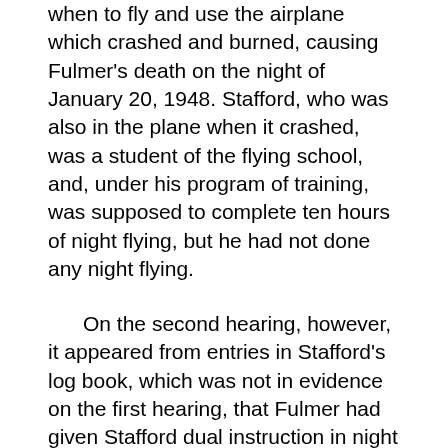when to fly and use the airplane which crashed and burned, causing Fulmer's death on the night of January 20, 1948. Stafford, who was also in the plane when it crashed, was a student of the flying school, and, under his program of training, was supposed to complete ten hours of night flying, but he had not done any night flying.
On the second hearing, however, it appeared from entries in Stafford's log book, which was not in evidence on the first hearing, that Fulmer had given Stafford dual instruction in night flying on flights on the nights October 10, 1947, and January 12, 1948, and the Augusta School of Aviation had